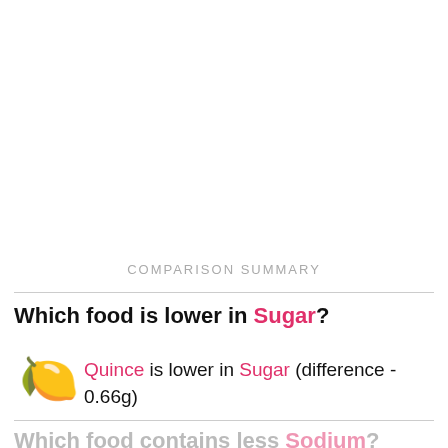COMPARISON SUMMARY
Which food is lower in Sugar?
Quince is lower in Sugar (difference - 0.66g)
Which food contains less Sodium?
Quince contains less Sodium